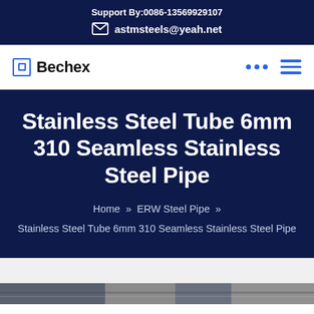Support By:0086-13569929107
astmsteels@yeah.net
[Figure (logo): Bechex logo with square icon]
Stainless Steel Tube 6mm 310 Seamless Stainless Steel Pipe
Home » ERW Steel Pipe » Stainless Steel Tube 6mm 310 Seamless Stainless Steel Pipe
[Figure (photo): Partial photo strip at the bottom of the page showing steel pipes]